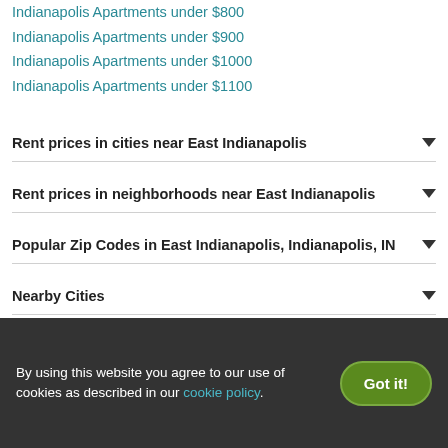Indianapolis Apartments under $800
Indianapolis Apartments under $900
Indianapolis Apartments under $1000
Indianapolis Apartments under $1100
Rent prices in cities near East Indianapolis
Rent prices in neighborhoods near East Indianapolis
Popular Zip Codes in East Indianapolis, Indianapolis, IN
Nearby Cities
By using this website you agree to our use of cookies as described in our cookie policy.